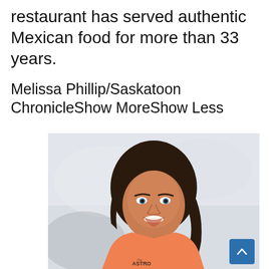restaurant has served authentic Mexican food for more than 33 years.
Melissa Phillip/Saskatoon ChronicleShow MoreShow Less
[Figure (photo): A smiling young woman with long dark wavy hair wearing an orange t-shirt with 'ASTRO' text, photographed against a light grey/white background.]